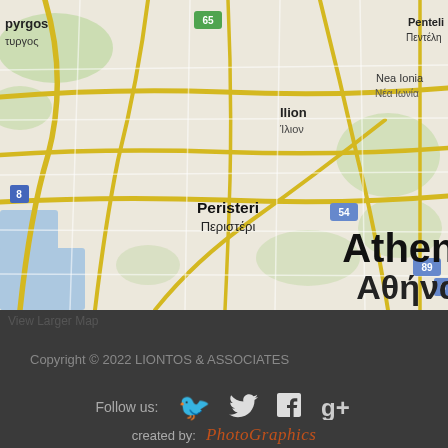[Figure (map): Google Maps screenshot showing Athens (Αθήνα) and surrounding areas including Marousi, Peristeri, Chalandri, Kallithea, Pireas, Paiania, Gerakas, Ilion, Nea Ionia, Penteli with road network visible]
View Larger Map
Copyright © 2022 LIONTOS & ASSOCIATES
Follow us:
created by: PhotoGraphics